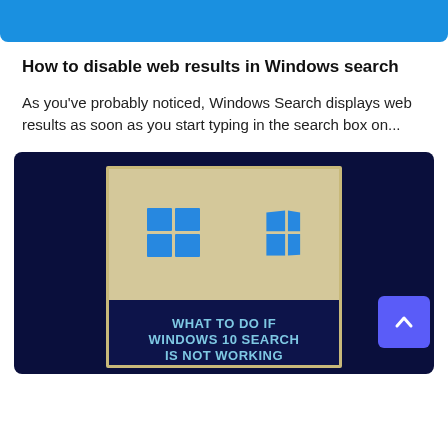[Figure (other): Blue header banner bar]
How to disable web results in Windows search
As you've probably noticed, Windows Search displays web results as soon as you start typing in the search box on...
[Figure (infographic): Dark navy infographic card showing two Windows logos on a beige background and the text 'WHAT TO DO IF WINDOWS 10 SEARCH IS NOT WORKING' on a dark blue banner, with a purple scroll-up button in the corner.]